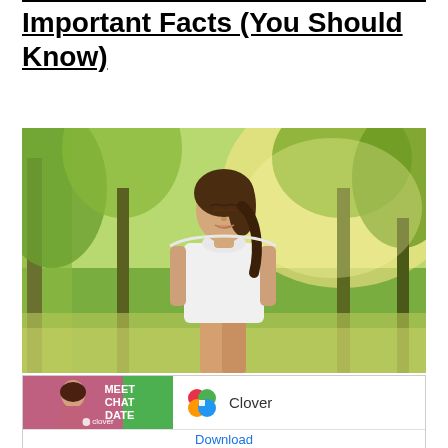Important Facts (You Should Know)
[Figure (photo): Woman in white tank top standing outdoors in a park with green trees in the background, eyes closed, appearing calm and peaceful]
[Figure (other): Advertisement for Clover dating app with 'Meet Chat Date' text on green background, Clover logo, and Download button]